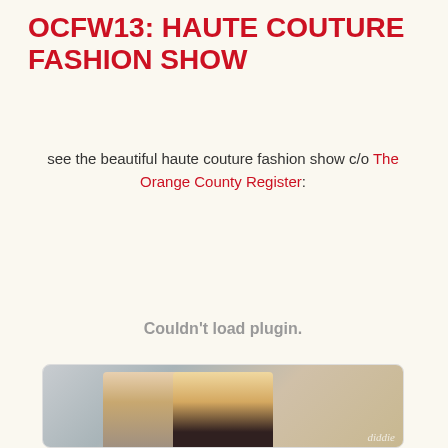OCFW13: HAUTE COUTURE FASHION SHOW
see the beautiful haute couture fashion show c/o The Orange County Register:
Couldn't load plugin.
[Figure (photo): Two people posing together outdoors near a decorative fence/gate structure, man on the left and woman on the right]